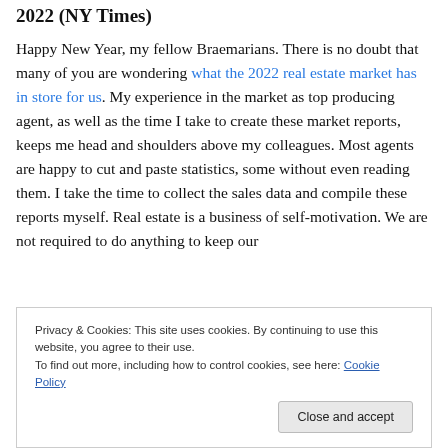2022 (NY Times)
Happy New Year, my fellow Braemarians. There is no doubt that many of you are wondering what the 2022 real estate market has in store for us. My experience in the market as top producing agent, as well as the time I take to create these market reports, keeps me head and shoulders above my colleagues. Most agents are happy to cut and paste statistics, some without even reading them. I take the time to collect the sales data and compile these reports myself. Real estate is a business of self-motivation. We are not required to do anything to keep our
Privacy & Cookies: This site uses cookies. By continuing to use this website, you agree to their use.
To find out more, including how to control cookies, see here: Cookie Policy
Close and accept